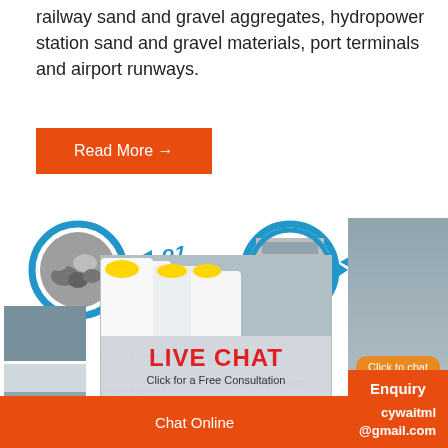railway sand and gravel aggregates, hydropower station sand and gravel materials, port terminals and airport runways.
Read More →
[Figure (infographic): Construction process infographic showing numbered steps (01, 02, 03) with blue circles and arrows. Shows raw materials, finished stone 1, finished stone 2, finished stone 3, vibrating screen, and hour online labels. Overlaid with a live chat popup showing 'LIVE CHAT Click for a Free Consultation' with Chat now and Chat later buttons. Right side shows a customer service woman with headset, Click to chat button, and Enquiry section.]
Chat Online
cywaitml @gmail.com